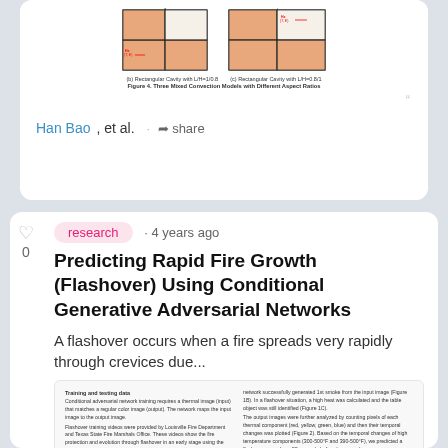[Figure (engineering-diagram): Two rectangular cavity diagrams with different aspect ratios (L/H=1/0.8 and L/H=0.8/1), showing mixed convection models with labeled corners]
(b) Rectangular Cavity with L/H=1/0.8    (c) Rectangular Cavity with L/H=0.8/1
Figure 4. Three Mixed Convection Models with Different Aspect Ratios
Han Bao, et al. · share
research · 4 years ago
Predicting Rapid Fire Growth (Flashover) Using Conditional Generative Adversarial Networks
A flashover occurs when a fire spreads very rapidly through crevices due...
[Figure (screenshot): A cropped excerpt of a scientific paper showing two columns of text with sections on Training and testing data and results.]